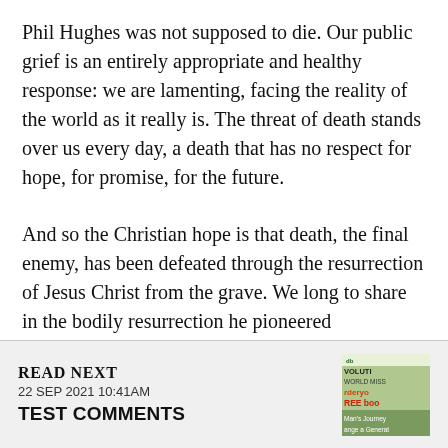Phil Hughes was not supposed to die. Our public grief is an entirely appropriate and healthy response: we are lamenting, facing the reality of the world as it really is. The threat of death stands over us every day, a death that has no respect for hope, for promise, for the future.
And so the Christian hope is that death, the final enemy, has been defeated through the resurrection of Jesus Christ from the grave. We long to share in the bodily resurrection he pioneered (Philippians 3:21), to live as bodies no
READ NEXT
22 SEP 2021 10:41AM
TEST COMMENTS
[Figure (photo): Small thumbnail image of a book or publication cover with text including 'VOLUTI', 'WORLD MISS', 'rder yo', 'REE boo', 'Man's Journey', 'ange a Generat']